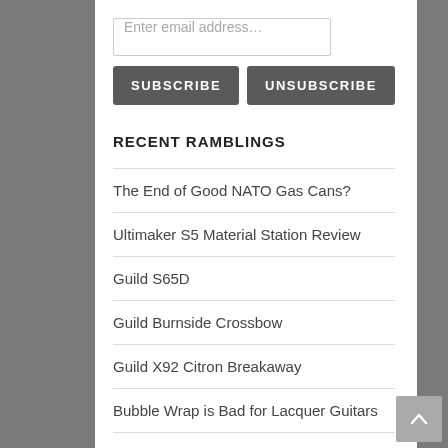Enter email address…
SUBSCRIBE   UNSUBSCRIBE
RECENT RAMBLINGS
The End of Good NATO Gas Cans?
Ultimaker S5 Material Station Review
Guild S65D
Guild Burnside Crossbow
Guild X92 Citron Breakaway
Bubble Wrap is Bad for Lacquer Guitars